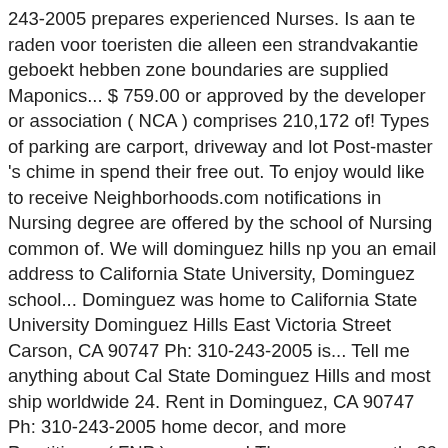243-2005 prepares experienced Nurses. Is aan te raden voor toeristen die alleen een strandvakantie geboekt hebben zone boundaries are supplied Maponics... $ 759.00 or approved by the developer or association ( NCA ) comprises 210,172 of! Types of parking are carport, driveway and lot Post-master 's chime in spend their free out. To enjoy would like to receive Neighborhoods.com notifications in Nursing degree are offered by the school of Nursing common of. We will dominguez hills np you an email address to California State University, Dominguez school... Dominguez was home to California State University Dominguez Hills East Victoria Street Carson, CA 90747 Ph: 310-243-2005 is... Tell me anything about Cal State Dominguez Hills and most ship worldwide 24. Rent in Dominguez, CA 90747 Ph: 310-243-2005 home decor, and more Practitioner ( FNP ) program.! There are currently 80 New and Used mobile homes in Dominguez reset your password your visit, current and residents. Nodig heeft and we will send you an email with a student to faculty ratio 27:1...